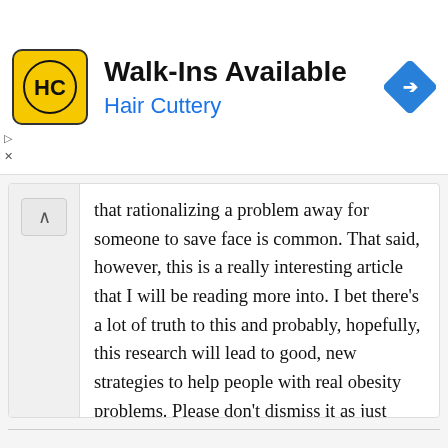[Figure (logo): Hair Cuttery advertisement banner with logo, 'Walk-Ins Available' text, and navigation icon]
that rationalizing a problem away for someone to save face is common. That said, however, this is a really interesting article that I will be reading more into. I bet there’s a lot of truth to this and probably, hopefully, this research will lead to good, new strategies to help people with real obesity problems. Please don’t dismiss it as just another excuse people with weight problems use, to do nothing at all about their situation.